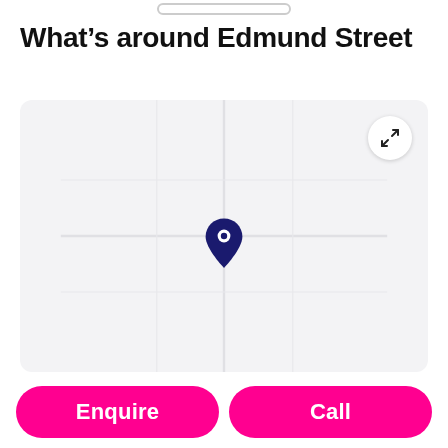What's around Edmund Street
[Figure (map): A map view showing a location pin (dark navy) centered on Edmund Street. The map background is light grey/off-white. An expand/fullscreen button is in the top-right corner of the map.]
Enquire
Call